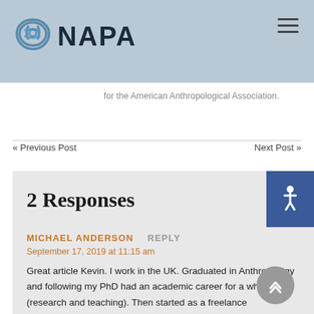NAPA
for the American Anthropological Association.
« Previous Post    Next Post »
2 Responses
MICHAEL ANDERSON   REPLY
September 17, 2019 at 11:15 am
Great article Kevin. I work in the UK. Graduated in Anthropology and following my PhD had an academic career for a while (research and teaching). Then started as a freelance researcher and consultant in the tech and digital industry. Currently working for UK Govt. Your comparisons and contrast are bang on. Just a couple of